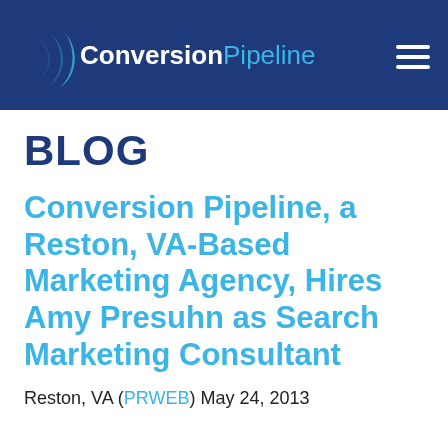Conversion Pipeline
BLOG
Conversion Pipeline, a Reston, VA-Based Marketing Agency, Hires Amy Presuhn as Search Marketing Consultant
Reston, VA (PRWEB) May 24, 2013